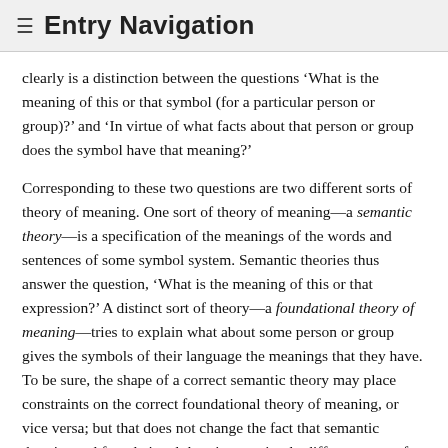☰ Entry Navigation
clearly is a distinction between the questions 'What is the meaning of this or that symbol (for a particular person or group)?' and 'In virtue of what facts about that person or group does the symbol have that meaning?'
Corresponding to these two questions are two different sorts of theory of meaning. One sort of theory of meaning—a semantic theory—is a specification of the meanings of the words and sentences of some symbol system. Semantic theories thus answer the question, 'What is the meaning of this or that expression?' A distinct sort of theory—a foundational theory of meaning—tries to explain what about some person or group gives the symbols of their language the meanings that they have. To be sure, the shape of a correct semantic theory may place constraints on the correct foundational theory of meaning, or vice versa; but that does not change the fact that semantic theories and foundational theories are simply different sorts of theories, designed to answer different questions.